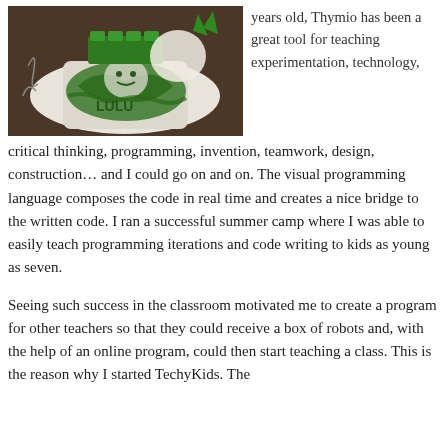[Figure (photo): A photo of a child-made robot decorated with green paint on white cardboard, sitting on a dark table. Green LEGO bricks are visible on top. The robot has a painted face and green body decorations.]
years old, Thymio has been a great tool for teaching experimentation, technology, critical thinking, programming, invention, teamwork, design, construction… and I could go on and on. The visual programming language composes the code in real time and creates a nice bridge to the written code. I ran a successful summer camp where I was able to easily teach programming iterations and code writing to kids as young as seven.
Seeing such success in the classroom motivated me to create a program for other teachers so that they could receive a box of robots and, with the help of an online program, could then start teaching a class. This is the reason why I started TechyKids. The